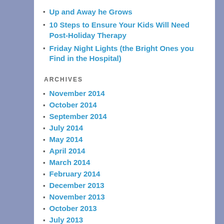Up and Away he Grows
10 Steps to Ensure Your Kids Will Need Post-Holiday Therapy
Friday Night Lights (the Bright Ones you Find in the Hospital)
ARCHIVES
November 2014
October 2014
September 2014
July 2014
May 2014
April 2014
March 2014
February 2014
December 2013
November 2013
October 2013
July 2013
June 2013
May 2013